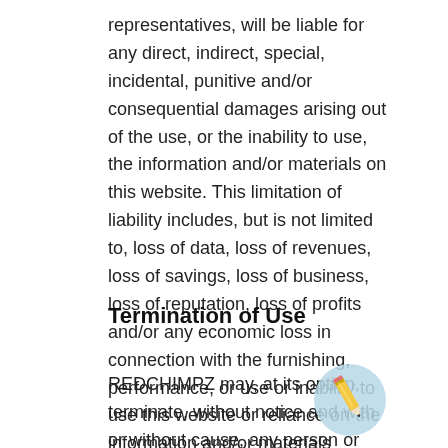representatives, will be liable for any direct, indirect, special, incidental, punitive and/or consequential damages arising out of the use, or the inability to use, the information and/or materials on this website. This limitation of liability includes, but is not limited to, loss of data, loss of revenues, loss of savings, loss of business, loss of reputation, loss of profits and/or any economic loss in connection with the furnishing, performance, or use or inability to use this website or reliance on the information and/or materials contained in this website; even if REDCHIMPZ is advised of the possibility of such damages.
Termination of Use
REDCHIMPZ may, at its option, terminate, without notice and with or without cause, any person or entity's access to the website, especially upon any breach of these Terms & Conditions, and without
[Figure (logo): REDCHIMPZ logo — pencil icon on a light blue circular background]